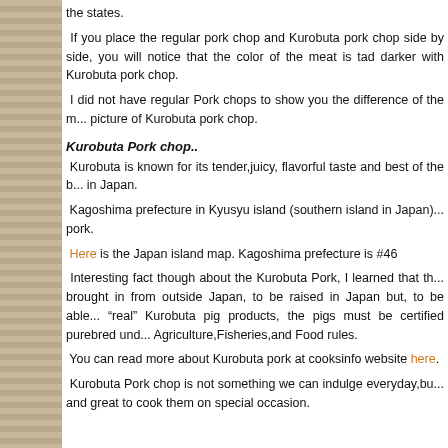the states.
If you place the regular pork chop and Kurobuta pork chop side by side, you will notice that the color of the meat is tad darker with Kurobuta pork chop.
I did not have regular Pork chops to show you the difference of the meat, so I only have a picture of Kurobuta pork chop.
Kurobuta Pork chop..
Kurobuta is known for its tender,juicy, flavorful taste and best of the b... in Japan.
Kagoshima prefecture in Kyusyu island (southern island in Japan) ... pork.
Here is the Japan island map. Kagoshima prefecture is #46
Interesting fact though about the Kurobuta Pork, I learned that th... brought in from outside Japan, to be raised in Japan but, to be able... "real" Kurobuta pig products, the pigs must be certified purebred und... Agriculture,Fisheries,and Food rules.
You can read more about Kurobuta pork at cooksinfo website here.
Kurobuta Pork chop is not something we can indulge everyday,bu... and great to cook them on special occasion.